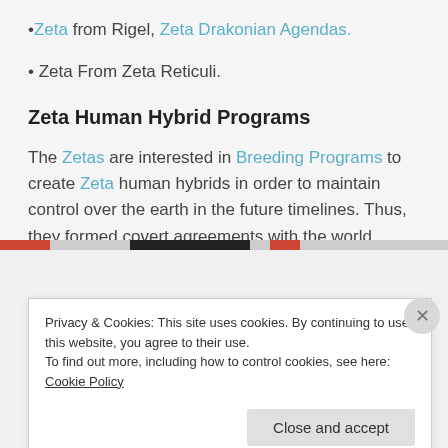•Zeta from Rigel, Zeta Drakonian Agendas.
• Zeta From Zeta Reticuli.
Zeta Human Hybrid Programs
The Zetas are interested in Breeding Programs to create Zeta human hybrids in order to maintain control over the earth in the future timelines. Thus, they formed covert agreements with the world
Privacy & Cookies: This site uses cookies. By continuing to use this website, you agree to their use.
To find out more, including how to control cookies, see here: Cookie Policy
Close and accept